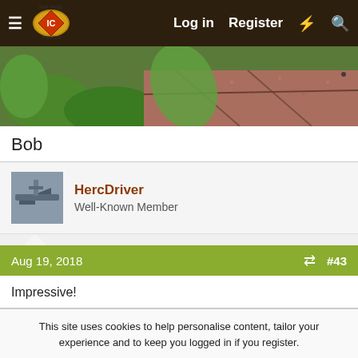Fair Trade Tobacco — Log in  Register
[Figure (photo): Close-up photo of green tobacco leaves and reddish brick/stone pavers outdoors]
Bob
HercDriver
Well-Known Member
Aug 19, 2018   #43
Impressive!
This site uses cookies to help personalise content, tailor your experience and to keep you logged in if you register.
By continuing to use this site, you are consenting to our use of cookies.
✓ Accept   Learn more…